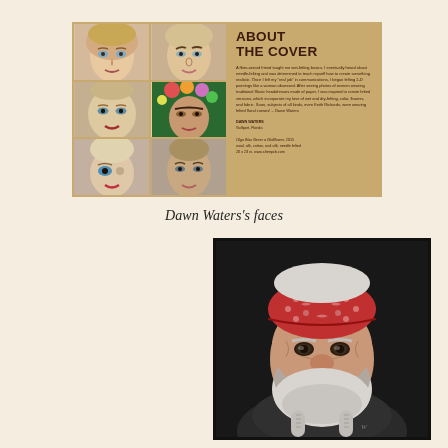[Figure (photo): Magazine spread titled 'ABOUT THE COVER' showing a grid of six needle-felted face portraits on a golden-tan background alongside artist text, by Dawn Waters]
Dawn Waters's faces
[Figure (photo): Needle-felted portrait of an elderly bearded man wearing a red patterned bandana with braided hair tails, set against a dark background in a black frame]